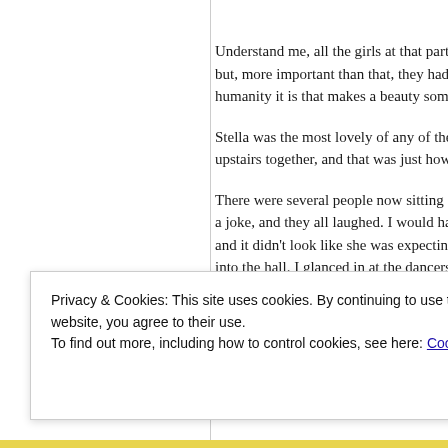Understand me, all the girls at that party, but, more important than that, they had w humanity it is that makes a beauty someth
Stella was the most lovely of any of them upstairs together, and that was just how th
There were several people now sitting on a joke, and they all laughed. I would have and it didn’t look like she was expecting n into the hall. I glanced in at the dancers, a coming from. I couldn’t see a record play
From the hall I called back to the kitcher
Privacy & Cookies: This site uses cookies. By continuing to use this website, you agree to their use. To find out more, including how to control cookies, see here: Cookie Policy
Close and accept